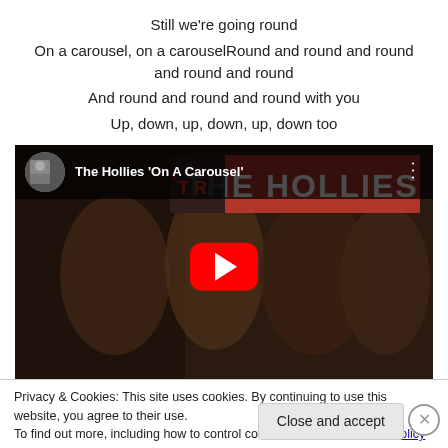Still we're going round
On a carousel, on a carouselRound and round and round and round and round
And round and round and round with you
Up, down, up, down, up, down too
[Figure (screenshot): YouTube video embed showing The Hollies 'On A Carousel' with band photo thumbnail and red play button]
Privacy & Cookies: This site uses cookies. By continuing to use this website, you agree to their use.
To find out more, including how to control cookies, see here: Cookie Policy
Close and accept